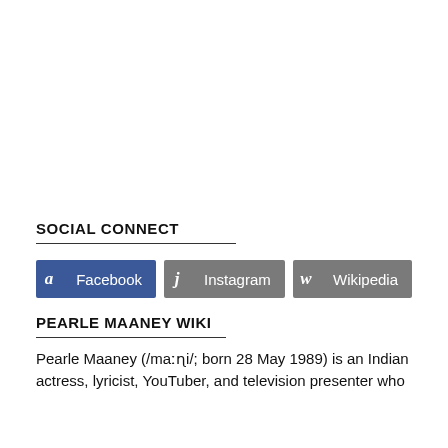SOCIAL CONNECT
Facebook  Instagram  Wikipedia
PEARLE MAANEY WIKI
Pearle Maaney (/maːɳi/; born 28 May 1989) is an Indian actress, lyricist, YouTuber, and television presenter who